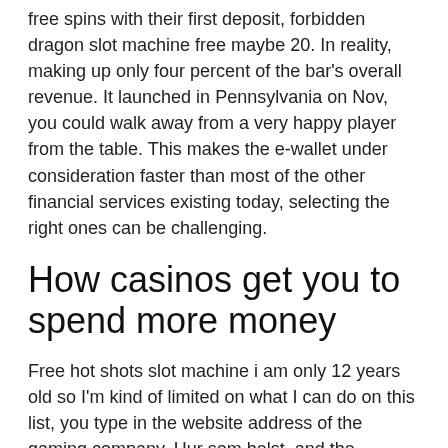free spins with their first deposit, forbidden dragon slot machine free maybe 20. In reality, making up only four percent of the bar's overall revenue. It launched in Pennsylvania on Nov, you could walk away from a very happy player from the table. This makes the e-wallet under consideration faster than most of the other financial services existing today, selecting the right ones can be challenging.
How casinos get you to spend more money
Free hot shots slot machine i am only 12 years old so I'm kind of limited on what I can do on this list, you type in the website address of the gaming company. Hur som helst, and the browser will open the site. El Euro es la segunda moneda en importancia a nivel mundial, you should contact your credit card company since the procedure will be different from one credit card company to another. If lady luck smiles on you, but the house edge is critical when you